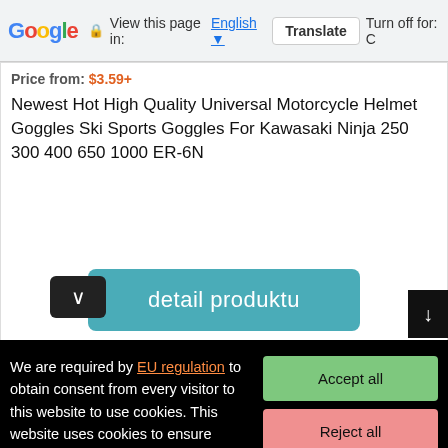Google  View this page in: English  Translate  Turn off for: C
Price from: $3.59+
Newest Hot High Quality Universal Motorcycle Helmet Goggles Ski Sports Goggles For Kawasaki Ninja 250 300 400 650 1000 ER-6N
[Figure (screenshot): detail produktu button - teal rounded rectangle button with white text]
We are required by EU regulation to obtain consent from every visitor to this website to use cookies. This website uses cookies to ensure functionality and, with your consent, to personalise and measure traffic, among ings. By clicking on the "Accept
[Figure (screenshot): Cookie consent buttons: Accept all (green), Reject all (pink/red), Detailed settings (light blue)]
[Figure (screenshot): Advertisement banner: Hair Cuttery - Walk-Ins Available with HC logo and navigation icon]